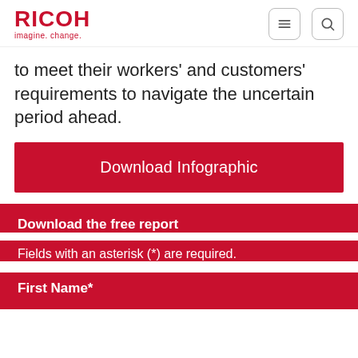RICOH imagine. change.
to meet their workers' and customers' requirements to navigate the uncertain period ahead.
[Figure (other): Download Infographic button — a red rectangular button with white text reading 'Download Infographic']
Download the free report
Fields with an asterisk (*) are required.
First Name*